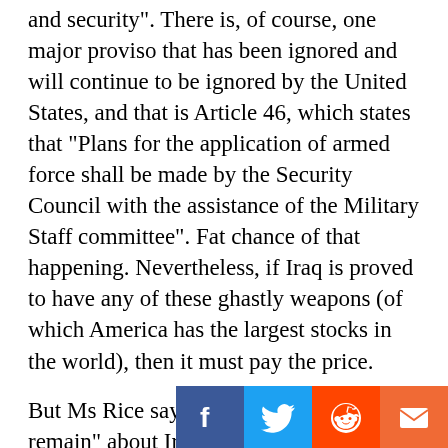and security". There is, of course, one major proviso that has been ignored and will continue to be ignored by the United States, and that is Article 46, which states that “Plans for the application of armed force shall be made by the Security Council with the assistance of the Military Staff committee". Fat chance of that happening. Nevertheless, if Iraq is proved to have any of these ghastly weapons (of which America has the largest stocks in the world), then it must pay the price.
But Ms Rice says, “Many questions remain” about Iraq’s alleged NBC programmes, and “it is Iraq’s obligation to provide answers". The question posed to Iraq was “Do you possess NBC weapons?” Iraq’s answer is “No”. If Iraq is lying (and it is difficult to imagine Mr Saddam Hussein telling the truth about the time of day) then let it be proved. Saying over and over again that Mr Hussein tells lies and therefore must have NBC weapons is not good enough. Ari Fleischer, the spokesman for Mr Bush, said on Jan 9, the w for further developments and...